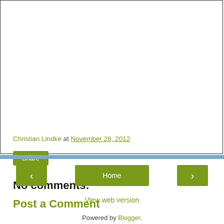Christian Lindke at November 28, 2012
Share
No comments:
Post a Comment
‹
Home
›
View web version
Powered by Blogger.